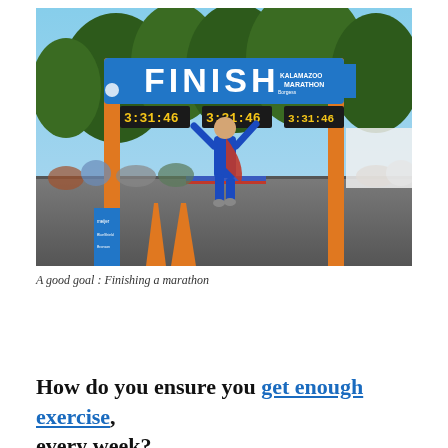[Figure (photo): A person dressed in a Superman costume crossing the finish line of the Kalamazoo Marathon with arms raised in celebration. The finish line arch is blue and orange with 'FINISH' written in large white letters. Digital clocks show times around 3:31:46. Orange traffic cones and crowds are visible in the background.]
A good goal : Finishing a marathon
How do you ensure you get enough exercise, every week?